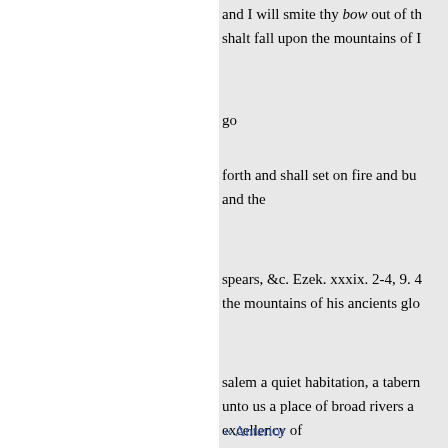and I will smite thy bow out of th shalt fall upon the mountains of I
go
forth and shall set on fire and bu and the
spears, &c. Ezek. xxxix. 2-4, 9. 4 the mountains of his ancients glo
salem a quiet habitation, a tabern unto us a place of broad rivers a excellency of
our God. xxxv. 2. 5. The stout-he
spoiled them. Ezek. xxxix. 10. Th of might that day that I will give
Israel--and there shall they bu them that destroy the earth. The r
« Anterior